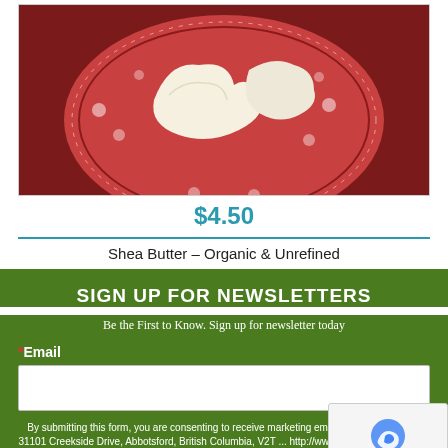[Figure (photo): Photo of organic shea butter chunks on a decorative red and white floral plate, set on a dark red background]
$4.50
Shea Butter – Organic & Unrefined
SIGN UP FOR NEWSLETTERS
Be the First to Know. Sign up for newsletter today
* Email
By submitting this form, you are consenting to receive marketing emails fro... Scents Inc., 31101 Creekside Drive, Abbotsford, British Columbia, V2T ... http://www.sudsandscents.com. You can revoke your consent to receive em... time by using the SafeUnsubscribe® link, found at the bottom of every email. Emails